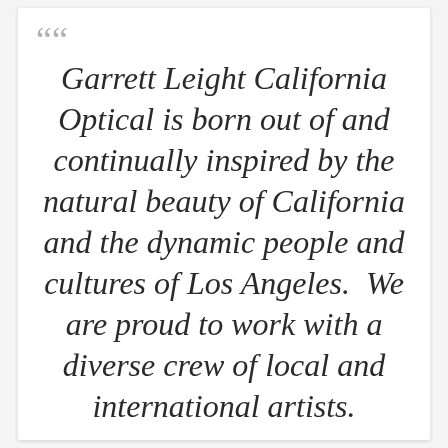Garrett Leight California Optical is born out of and continually inspired by the natural beauty of California and the dynamic people and cultures of Los Angeles.  We are proud to work with a diverse crew of local and international artists.